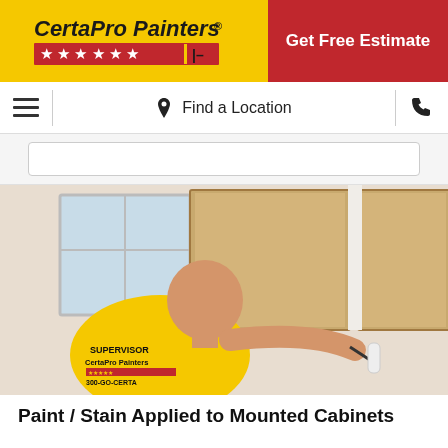CertaPro Painters® — Get Free Estimate
☰  Find a Location  📞
[Figure (photo): A CertaPro Painters supervisor in a yellow shirt painting/rolling the inside of open upper kitchen cabinets. Text on shirt: SUPERVISOR, CertaPro Painters, 300-GO-CERTA]
Paint / Stain Applied to Mounted Cabinets